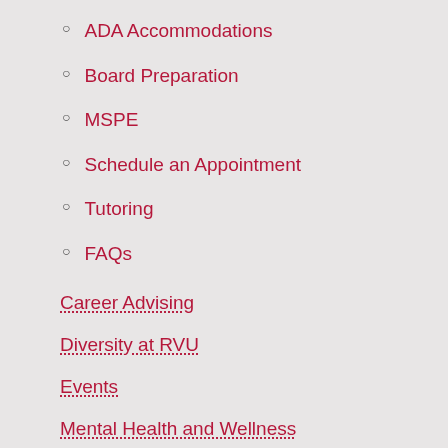ADA Accommodations
Board Preparation
MSPE
Schedule an Appointment
Tutoring
FAQs
Career Advising
Diversity at RVU
Events
Mental Health and Wellness
Office of the Registrar
(University site)